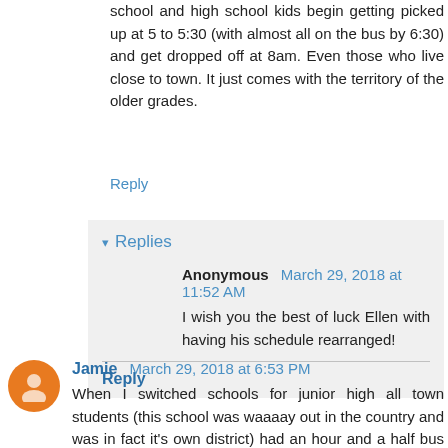school and high school kids begin getting picked up at 5 to 5:30 (with almost all on the bus by 6:30) and get dropped off at 8am. Even those who live close to town. It just comes with the territory of the older grades.
Reply
Replies
Anonymous  March 29, 2018 at 11:52 AM
I wish you the best of luck Ellen with having his schedule rearranged!
Reply
Jamie  March 29, 2018 at 6:53 PM
When I switched schools for junior high all town students (this school was waaaay out in the country and was in fact it's own district) had an hour and a half bus ride home because they dropped off all the kids living in the country first then looked back around to drop off the town kids at